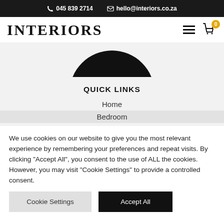📞 045 839 2714   ✉ hello@interiors.co.za
[Figure (logo): INTERIORS logo with hamburger menu and shopping cart with badge showing 0]
[Figure (photo): Partial view of a black circular product/furniture image from above]
QUICK LINKS
Home
Bedroom
We use cookies on our website to give you the most relevant experience by remembering your preferences and repeat visits. By clicking "Accept All", you consent to the use of ALL the cookies. However, you may visit "Cookie Settings" to provide a controlled consent.
Cookie Settings | Accept All